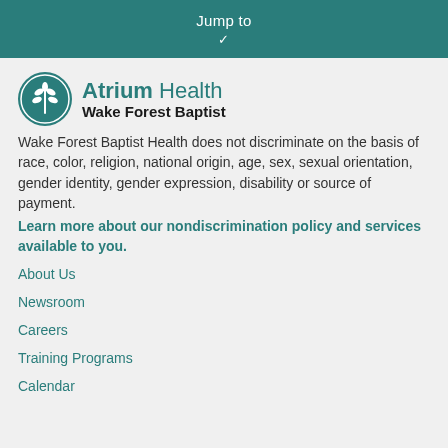Jump to
[Figure (logo): Atrium Health Wake Forest Baptist logo with leaf icon]
Wake Forest Baptist Health does not discriminate on the basis of race, color, religion, national origin, age, sex, sexual orientation, gender identity, gender expression, disability or source of payment.
Learn more about our nondiscrimination policy and services available to you.
About Us
Newsroom
Careers
Training Programs
Calendar